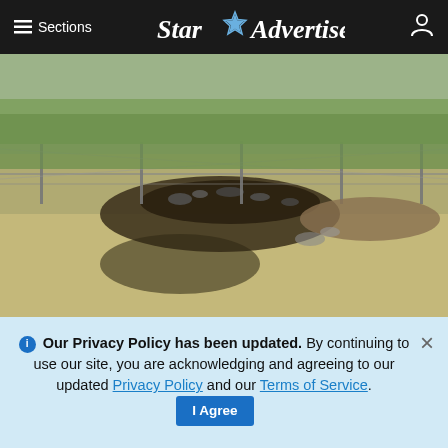≡ Sections   Star Advertiser
[Figure (photo): Charred remains of a skydiving plane on the grounds of Dillingham Airfield on Oahu's North Shore. The burned area is visible next to a chain-link fence, surrounded by dry grass and dirt.]
STAR-ADVERTISER / JUNE 22, 2019
The charred remains of a skydiving plane sits on the grounds of Dillingham Airfield on Oahu's North Shore in June 2019. Federal officials released documents today provide details about the 2019 crash that killed 11 people.
ADVERTISEMENT
ℹ Our Privacy Policy has been updated. By continuing to use our site, you are acknowledging and agreeing to our updated Privacy Policy and our Terms of Service. I Agree